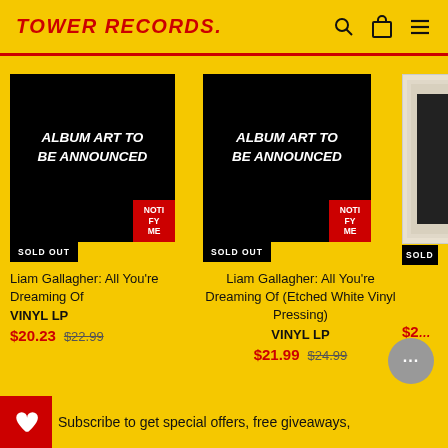TOWER RECORDS
[Figure (screenshot): Album art placeholder - black square with italic white text 'ALBUM ART TO BE ANNOUNCED', red NOTIFY ME button, SOLD OUT badge]
Liam Gallagher: All You're Dreaming Of
VINYL LP
$20.23  $22.99
[Figure (screenshot): Album art placeholder - black square with italic white text 'ALBUM ART TO BE ANNOUNCED', red NOTIFY ME button, SOLD OUT badge]
Liam Gallagher: All You're Dreaming Of (Etched White Vinyl Pressing)
VINYL LP
$21.99  $24.99
[Figure (screenshot): Partially visible third product with white frame album art and SOLD OUT badge and partial price $2...]
Subscribe to get special offers, free giveaways,